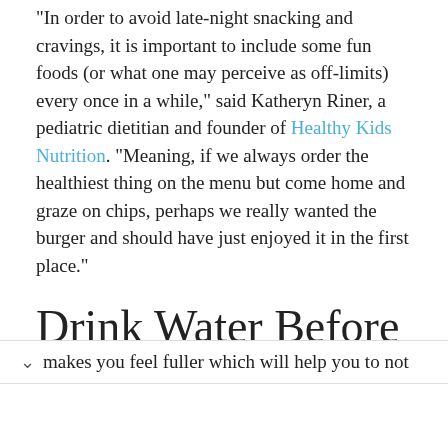"In order to avoid late-night snacking and cravings, it is important to include some fun foods (or what one may perceive as off-limits) every once in a while," said Katheryn Riner, a pediatric dietitian and founder of Healthy Kids Nutrition. "Meaning, if we always order the healthiest thing on the menu but come home and graze on chips, perhaps we really wanted the burger and should have just enjoyed it in the first place."
Drink Water Before and After the Meal
It would help if you considered drinking water 30 minutes before a meal to assist with digestion. It makes you feel fuller which will help you to not